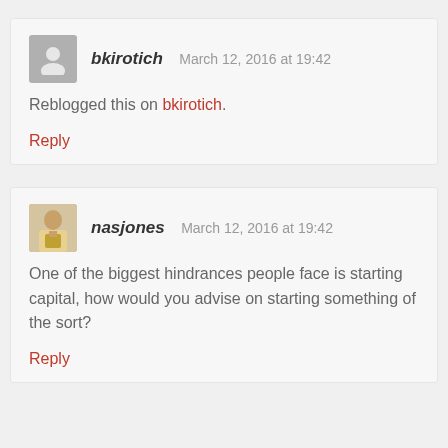bkirotich   March 12, 2016 at 19:42
Reblogged this on bkirotich.
Reply
nasjones   March 12, 2016 at 19:42
One of the biggest hindrances people face is starting capital, how would you advise on starting something of the sort?
Reply